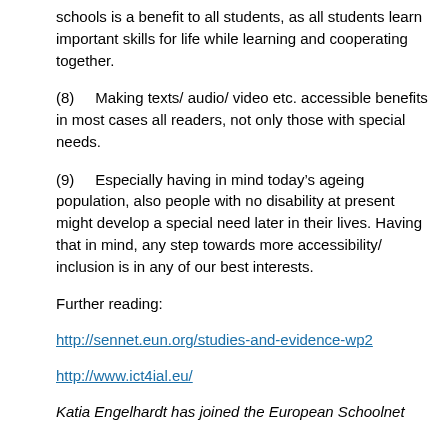schools is a benefit to all students, as all students learn important skills for life while learning and cooperating together.
(8)   Making texts/ audio/ video etc. accessible benefits in most cases all readers, not only those with special needs.
(9)   Especially having in mind today’s ageing population, also people with no disability at present might develop a special need later in their lives. Having that in mind, any step towards more accessibility/ inclusion is in any of our best interests.
Further reading:
http://sennet.eun.org/studies-and-evidence-wp2
http://www.ict4ial.eu/
Katia Engelhardt has joined the European Schoolnet